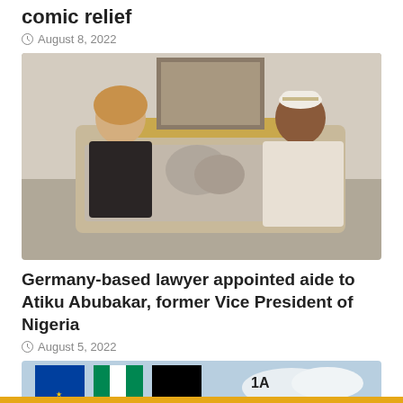comic relief
August 8, 2022
[Figure (photo): Two people seated on an ornate sofa having a conversation — a woman in a dark floral blouse on the left and a man in a white traditional outfit with a white cap on the right.]
Germany-based lawyer appointed aide to Atiku Abubakar, former Vice President of Nigeria
August 5, 2022
[Figure (photo): Flags of EU and Nigeria visible alongside two bronze Benin bronze artifacts on a table, with a text overlay reading '1A' in the background.]